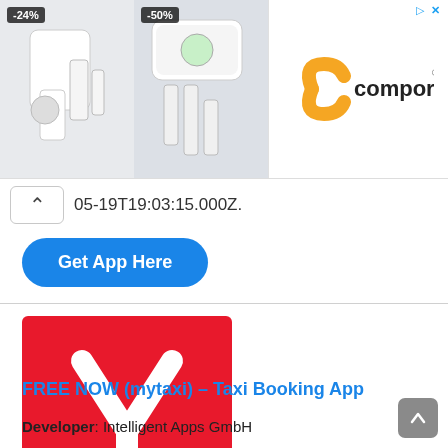[Figure (screenshot): Advertisement banner showing smart home security camera products with -24% and -50% discount badges on the left, and the Comporium logo on the right]
05-19T19:03:15.000Z.
Get App Here
[Figure (logo): FREE NOW (mytaxi) app logo: red square with white checkmark/fork symbol]
FREE NOW (mytaxi) – Taxi Booking App
Developer: Intelligent Apps GmbH